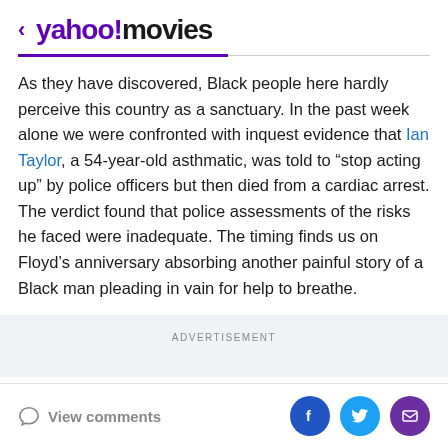< yahoo! movies
As they have discovered, Black people here hardly perceive this country as a sanctuary. In the past week alone we were confronted with inquest evidence that Ian Taylor, a 54-year-old asthmatic, was told to “stop acting up” by police officers but then died from a cardiac arrest. The verdict found that police assessments of the risks he faced were inadequate. The timing finds us on Floyd’s anniversary absorbing another painful story of a Black man pleading in vain for help to breathe.
ADVERTISEMENT
View comments